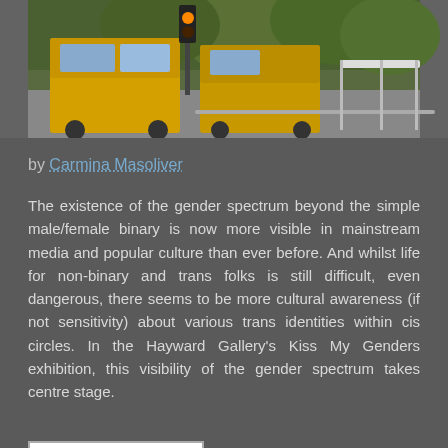[Figure (photo): A street scene with yellow trucks/vehicles under green trees, with a traffic light showing orange.]
by Carmina Masoliver
The existence of the gender spectrum beyond the simple male/female binary is now more visible in mainstream media and popular culture than ever before. And whilst life for non-binary and trans folks is still difficult, even dangerous, there seems to be more cultural awareness (if not sensitivity) about various trans identities within cis circles. In the Hayward Gallery's Kiss My Genders exhibition, this visibility of the gender spectrum takes centre stage.
Continue Reading
Share this:
Tweet
Email